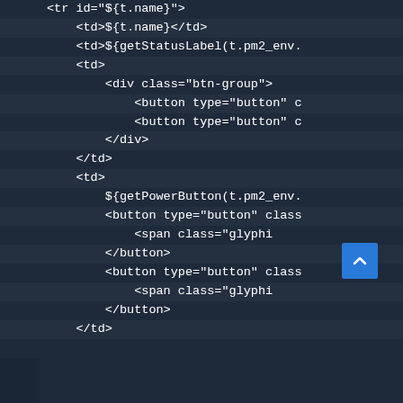[Figure (screenshot): Code editor screenshot showing HTML template code with dark blue background. Lines include: <tr id="${t.name}">, <td>${t.name}</td>, <td>${getStatusLabel(t.pm2_env., <td>, <div class="btn-group">, <button type="button" c, <button type="button" c, </div>, </td>, <td>, ${getPowerButton(t.pm2_env., <button type="button" class, <span class="glyphi, </button>, <button type="button" class, <span class="glyphi, </button>, </td>. A blue scroll-to-top button appears in the lower right area.]